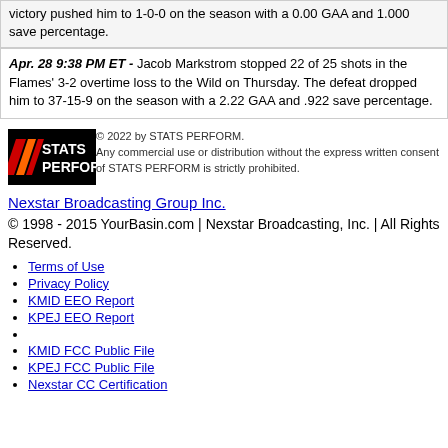victory pushed him to 1-0-0 on the season with a 0.00 GAA and 1.000 save percentage.
Apr. 28 9:38 PM ET - Jacob Markstrom stopped 22 of 25 shots in the Flames' 3-2 overtime loss to the Wild on Thursday. The defeat dropped him to 37-15-9 on the season with a 2.22 GAA and .922 save percentage.
[Figure (logo): STATS PERFORM logo — black background with red and orange diagonal stripes, white text reading STATS PERFORM]
© 2022 by STATS PERFORM. Any commercial use or distribution without the express written consent of STATS PERFORM is strictly prohibited.
Nexstar Broadcasting Group Inc.
© 1998 - 2015 YourBasin.com | Nexstar Broadcasting, Inc. | All Rights Reserved.
Terms of Use
Privacy Policy
KMID EEO Report
KPEJ EEO Report
KMID FCC Public File
KPEJ FCC Public File
Nexstar CC Certification